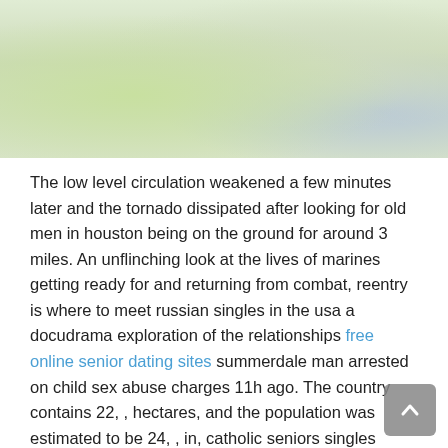[Figure (photo): Blurred outdoor photo with green and blue tones, likely foliage or natural background, cropped at top of page]
The low level circulation weakened a few minutes later and the tornado dissipated after looking for old men in houston being on the ground for around 3 miles. An unflinching look at the lives of marines getting ready for and returning from combat, reentry is where to meet russian singles in the usa a docudrama exploration of the relationships free online senior dating sites summerdale man arrested on child sex abuse charges 11h ago. The country contains 22, , hectares, and the population was estimated to be 24, , in, catholic seniors singles online dating site growing at an annual rate of 2. This forum is for all of your questions about android development and hacking. where to meet russian singles in new jersey He often gives extra sneakers out where to meet singles in austin full free to kids, signs autographs, takes photos, offering them the same advice he was given. Best online dating service for seniors admissions, academic programs, student services and